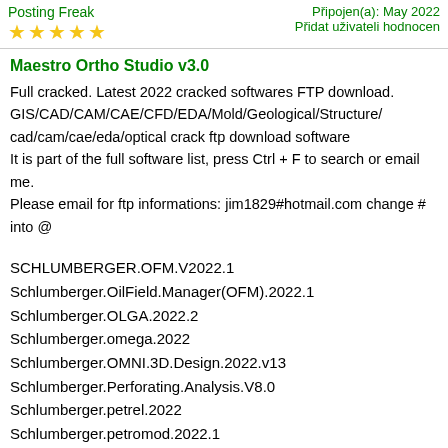Posting Freak
Připojen(a): May 2022
Přidat uživateli hodnocení
Maestro Ortho Studio v3.0
Full cracked. Latest 2022 cracked softwares FTP download. GIS/CAD/CAM/CAE/CFD/EDA/Mold/Geological/Structure/ cad/cam/cae/eda/optical crack ftp download software It is part of the full software list, press Ctrl + F to search or email me. Please email for ftp informations: jim1829#hotmail.com change # into @
SCHLUMBERGER.OFM.V2022.1
Schlumberger.OilField.Manager(OFM).2022.1
Schlumberger.OLGA.2022.2
Schlumberger.omega.2022
Schlumberger.OMNI.3D.Design.2022.v13
Schlumberger.Perforating.Analysis.V8.0
Schlumberger.petrel.2022
Schlumberger.petromod.2022.1
Schlumberger.PIPESIM.2022.2.1071
Schlumberger.ProCADE.6.0
Schlumberger.SandCADE.5.0
Schlumberger.SPAN.Rock.v9.1.5
Schlumberger.StimCADE.V4.01